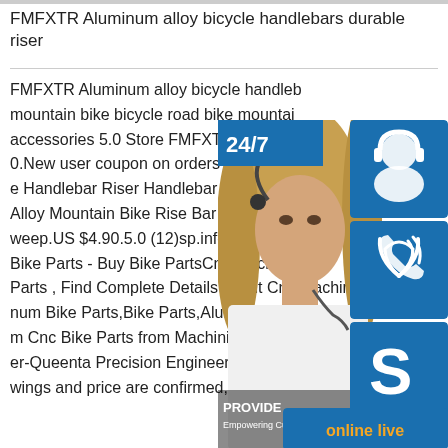FMFXTR Aluminum alloy bicycle handlebars durable riser
FMFXTR Aluminum alloy bicycle handlebars durable riser mountain bike bicycle road bike mountain accessories 5.0 Store FMFXTR Store.U 0.New user coupon on orders over US $ e Handlebar Riser Handlebar 31.8mm*7 Alloy Mountain Bike Rise Bar Thick Tube weep.US $4.90.5.0 (12)sp.infoCnc Mac Bike Parts - Buy Bike PartsCnc Machine Parts , Find Complete Details about Cnc Machined Aluminum Bike Parts,Bike Parts,Aluminum Bike Parts,Aluminum Cnc Bike Parts from Machining Supplier or Manufacturer-Queenta Precision Engineering (Suzhou) Ltd. After drawings and price are confirmed, the samples will be ready
[Figure (photo): Customer service representative overlay with blue icon buttons: headset icon (top), phone icon (middle), Skype icon (bottom), '24/7' banner, 'PROVIDE Empowering Cu...' text, and 'online live' button in orange text on blue background.]